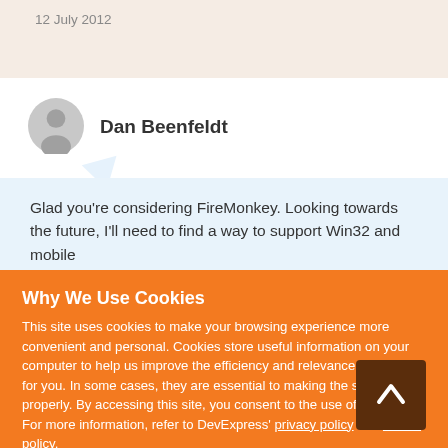12 July 2012
Dan Beenfeldt
Glad you're considering FireMonkey.  Looking towards the future, I'll need to find a way to support Win32 and mobile
Why We Use Cookies
This site uses cookies to make your browsing experience more convenient and personal. Cookies store useful information on your computer to help us improve the efficiency and relevance of our site for you. In some cases, they are essential to making the site work properly. By accessing this site, you consent to the use of cookies. For more information, refer to DevExpress' privacy policy and cookie policy.